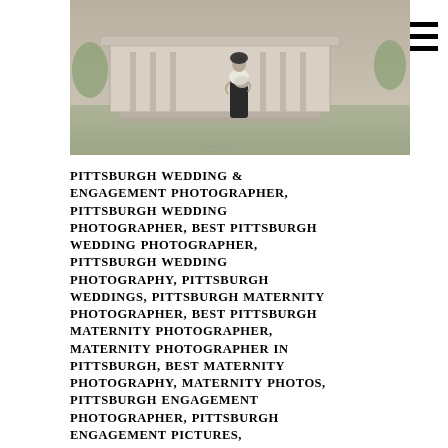[Figure (photo): Black and white photo of a pregnant woman standing outdoors in front of a classical building with columns, wearing a white top and dark skirt, holding her belly.]
PITTSBURGH WEDDING & ENGAGEMENT PHOTOGRAPHER, PITTSBURGH WEDDING PHOTOGRAPHER, BEST PITTSBURGH WEDDING PHOTOGRAPHER, PITTSBURGH WEDDING PHOTOGRAPHY, PITTSBURGH WEDDINGS, PITTSBURGH MATERNITY PHOTOGRAPHER, BEST PITTSBURGH MATERNITY PHOTOGRAPHER, MATERNITY PHOTOGRAPHER IN PITTSBURGH, BEST MATERNITY PHOTOGRAPHY, MATERNITY PHOTOS, PITTSBURGH ENGAGEMENT PHOTOGRAPHER, PITTSBURGH ENGAGEMENT PICTURES, PITTSBURGH MATERNITY, BEAVER COUNTY MATERNITY PHOTOGRAPHER, CRANBERRY TWP MATERNITY PHOTOGRAPHER,